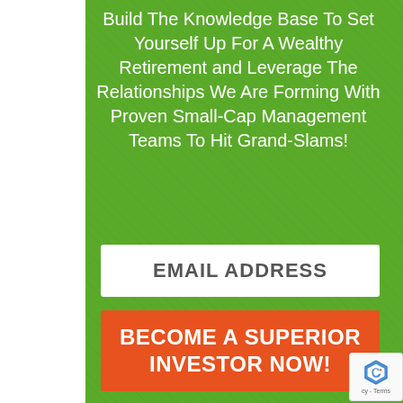Build The Knowledge Base To Set Yourself Up For A Wealthy Retirement and Leverage The Relationships We Are Forming With Proven Small-Cap Management Teams To Hit Grand-Slams!
[Figure (other): Email address input field — white rectangle with placeholder text EMAIL ADDRESS in bold dark gray uppercase letters]
[Figure (other): Call-to-action button — orange/red rectangle with white bold uppercase text: BECOME A SUPERIOR INVESTOR NOW!]
[Figure (other): reCAPTCHA badge in bottom-right corner showing the reCAPTCHA logo and partial text 'cy - Terms']